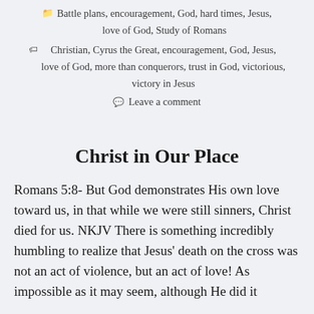Battle plans, encouragement, God, hard times, Jesus, love of God, Study of Romans
Christian, Cyrus the Great, encouragement, God, Jesus, love of God, more than conquerors, trust in God, victorious, victory in Jesus
Leave a comment
Christ in Our Place
Romans 5:8- But God demonstrates His own love toward us, in that while we were still sinners, Christ died for us. NKJV There is something incredibly humbling to realize that Jesus' death on the cross was not an act of violence, but an act of love! As impossible as it may seem, although He did it